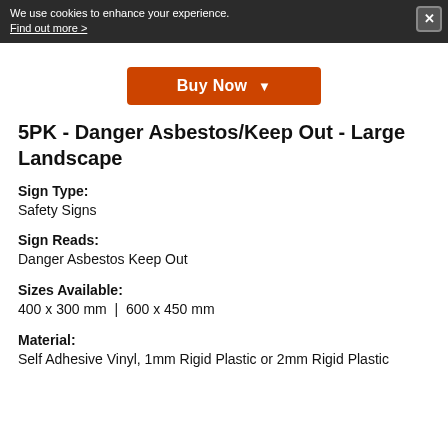We use cookies to enhance your experience. Find out more >
[Figure (other): Buy Now button with dropdown arrow, orange background]
5PK - Danger Asbestos/Keep Out - Large Landscape
Sign Type: Safety Signs
Sign Reads: Danger Asbestos Keep Out
Sizes Available: 400 x 300 mm | 600 x 450 mm
Material: Self Adhesive Vinyl, 1mm Rigid Plastic or 2mm Rigid Plastic